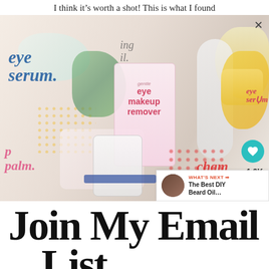I think it’s worth a shot! This is what I found
[Figure (photo): Flatlay photo of various cosmetic beauty products including eye serum, eye makeup remover, lip balm, and charm balm with colorful illustrated packaging on a light surface]
Join My Email List